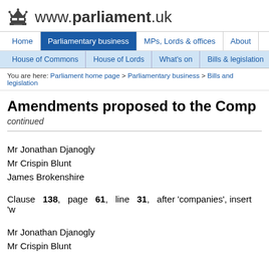www.parliament.uk
Home | Parliamentary business | MPs, Lords & offices | About
House of Commons | House of Lords | What's on | Bills & legislation
You are here: Parliament home page > Parliamentary business > Bills and legislation
Amendments proposed to the Comp (continued)
Mr Jonathan Djanogly
Mr Crispin Blunt
James Brokenshire
Clause 138, page 61, line 31, after 'companies', insert 'w
Mr Jonathan Djanogly
Mr Crispin Blunt